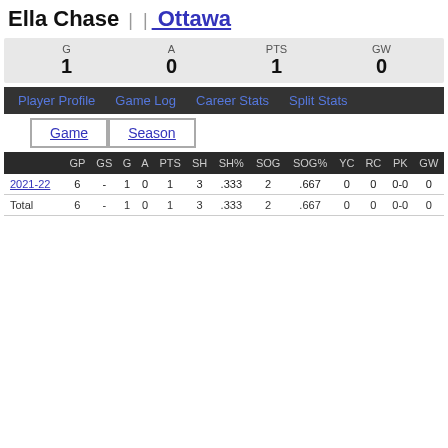Ella Chase | | Ottawa
|  | G | A | PTS | GW |
| --- | --- | --- | --- | --- |
|  | 1 | 0 | 1 | 0 |
Player Profile  Game Log  Career Stats  Split Stats
Game  Season
|  | GP | GS | G | A | PTS | SH | SH% | SOG | SOG% | YC | RC | PK | GW |
| --- | --- | --- | --- | --- | --- | --- | --- | --- | --- | --- | --- | --- | --- |
| 2021-22 | 6 | - | 1 | 0 | 1 | 3 | .333 | 2 | .667 | 0 | 0 | 0-0 | 0 |
| Total | 6 | - | 1 | 0 | 1 | 3 | .333 | 2 | .667 | 0 | 0 | 0-0 | 0 |